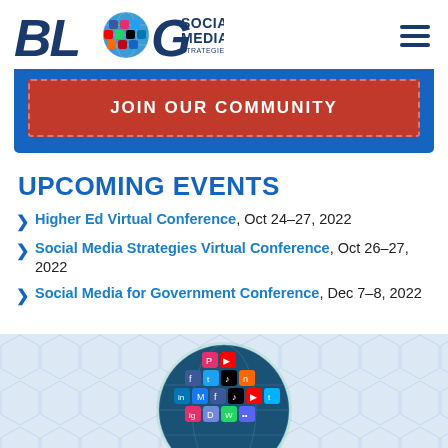BLOG SOCIAL MEDIA STRATEGIES SUMMIT
[Figure (other): JOIN OUR COMMUNITY red button on blue background banner]
UPCOMING EVENTS
Higher Ed Virtual Conference, Oct 24–27, 2022
Social Media Strategies Virtual Conference, Oct 26–27, 2022
Social Media for Government Conference, Dec 7–8, 2022
[Figure (illustration): Social media globe icon showing various social media platform logos (Facebook, TikTok, YouTube, Instagram, etc.) arranged in a sphere shape on a light blue hexagonal pattern background]